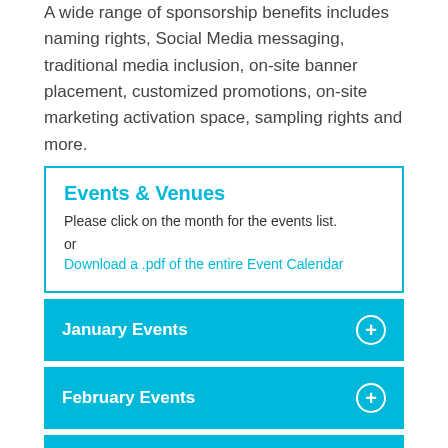A wide range of sponsorship benefits includes naming rights, Social Media messaging, traditional media inclusion, on-site banner placement, customized promotions, on-site marketing activation space, sampling rights and more.
Events & Venues
Please click on the month for the events list. or Download a .pdf of the entire Event Calendar
January Events
February Events
March Events
April Events